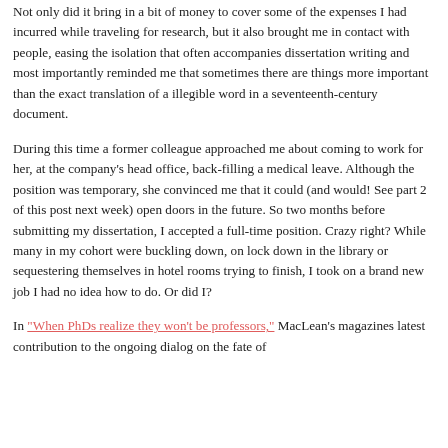Not only did it bring in a bit of money to cover some of the expenses I had incurred while traveling for research, but it also brought me in contact with people, easing the isolation that often accompanies dissertation writing and most importantly reminded me that sometimes there are things more important than the exact translation of a illegible word in a seventeenth-century document.
During this time a former colleague approached me about coming to work for her, at the company's head office, back-filling a medical leave. Although the position was temporary, she convinced me that it could (and would! See part 2 of this post next week) open doors in the future. So two months before submitting my dissertation, I accepted a full-time position. Crazy right? While many in my cohort were buckling down, on lock down in the library or sequestering themselves in hotel rooms trying to finish, I took on a brand new job I had no idea how to do. Or did I?
In "When PhDs realize they won't be professors," MacLean's magazines latest contribution to the ongoing dialog on the fate of